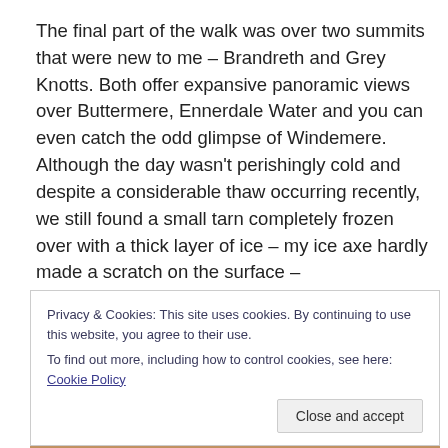The final part of the walk was over two summits that were new to me – Brandreth and Grey Knotts. Both offer expansive panoramic views over Buttermere, Ennerdale Water and you can even catch the odd glimpse of Windemere. Although the day wasn't perishingly cold and despite a considerable thaw occurring recently, we still found a small tarn completely frozen over with a thick layer of ice – my ice axe hardly made a scratch on the surface –
Privacy & Cookies: This site uses cookies. By continuing to use this website, you agree to their use.
To find out more, including how to control cookies, see here: Cookie Policy
[Figure (photo): Bottom strip showing a partial photo, appears to show a person in a red jacket outdoors on moorland/hillside terrain.]